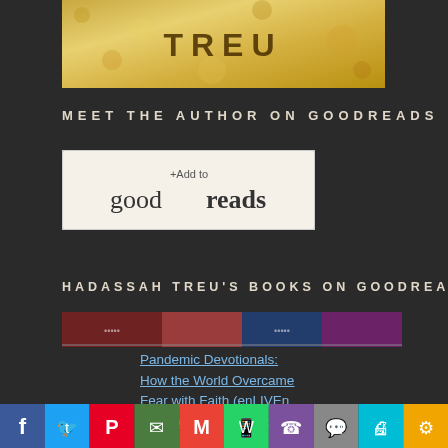[Figure (photo): Book cover with text TREU on golden/yellow textured background]
MEET THE AUTHOR ON GOODREADS
[Figure (logo): Goodreads +Add to goodreads button with white/cream background]
HADASSAH TREU'S BOOKS ON GOODREADS
[Figure (photo): Partial book cover image, colorful, partially visible]
Pandemic Devotionals: How the World Overcame Fear with Faith (enLIVEn Devotional Series Book 4)
[Figure (infographic): Social media share bar with icons: Facebook, Twitter, Pinterest, Mail, Gmail, WhatsApp, Viber, Comment, Print, Link]